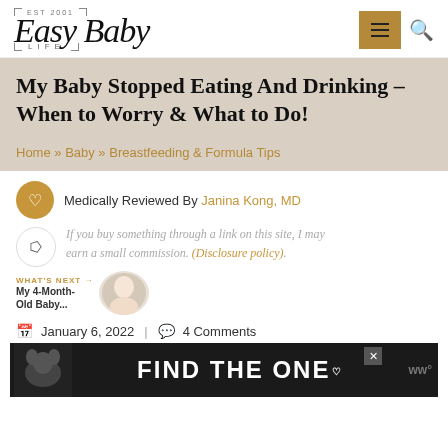Easy Baby Life — EST 2001 — Navigation header with hamburger menu and search icon
My Baby Stopped Eating And Drinking – When to Worry & What to Do!
Home » Baby » Breastfeeding & Formula Tips
Medically Reviewed By Janina Kong, MD
If you buy something through a link on this site, I may earn a small commission. (Disclosure policy).
WHAT'S NEXT → My 4-Month-Old Baby...
January 6, 2022 | 4 Comments
[Figure (photo): Advertisement banner with dog image and text FIND THE ONE with a heart icon, dark background, close button, and WW logo]